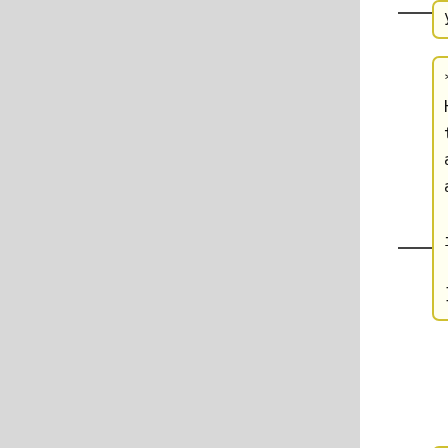* [[WikiHome#metada ta|Addition alMetadata and information ]]
* [[WikiHome#dev|Mu sicBrainzDe velopment]]
* [[WikiHome#doc|Mu sicBrainzDo cumentation ]]
* [[WikiHome#wiki|A ...